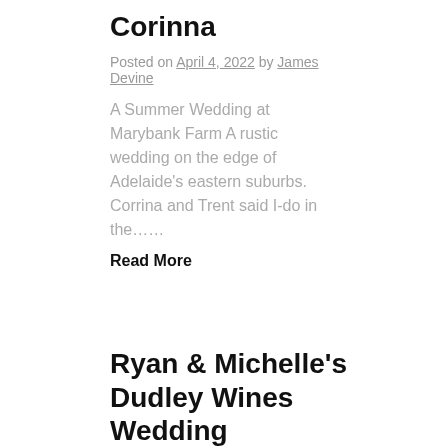Corinna
Posted on April 4, 2022 by James Devine
A Summer Wedding at Marybank Farm A rustic wedding on the edge of Adelaide's eastern suburbs. Corrina and Trent said I-do in the……
Read More
Ryan & Michelle's Dudley Wines Wedding